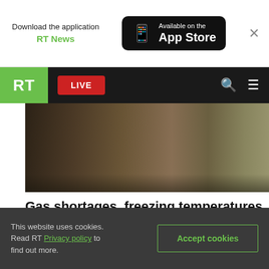Download the application RT News — Available on the App Store
RT LIVE
[Figure (photo): Hero image showing people loading or hauling firewood on farm machinery outdoors]
Gas shortages, freezing temperatures, firewood hoarding: Just how bad could things get this winter? FEATURE
This website uses cookies. Read RT Privacy policy to find out more. Accept cookies